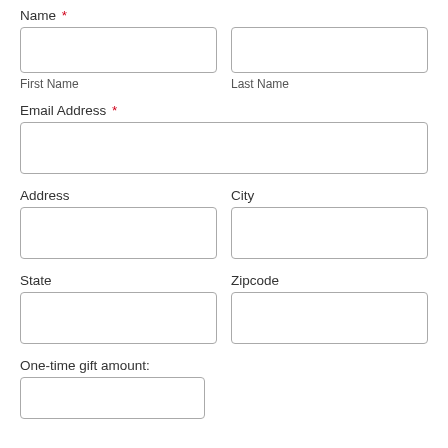Name *
First Name
Last Name
Email Address *
Address
City
State
Zipcode
One-time gift amount: